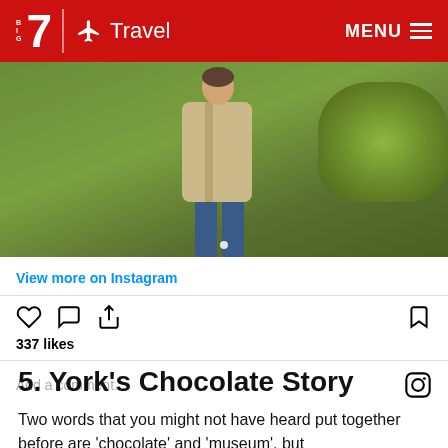Big 7 Travel | MENU
[Figure (photo): Person standing on grass in a beige coat and blue jeans, with green bushes in the background. Instagram post image.]
View more on Instagram
337 likes
Add a comment...
5. York's Chocolate Story
Two words that you might not have heard put together before are 'chocolate' and 'museum', but